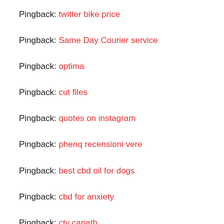Pingback: twitter bike price
Pingback: Same Day Courier service
Pingback: optima
Pingback: cut files
Pingback: quotes on instagram
Pingback: phenq recensioni vere
Pingback: best cbd oil for dogs
Pingback: cbd for anxiety
Pingback: cty capath